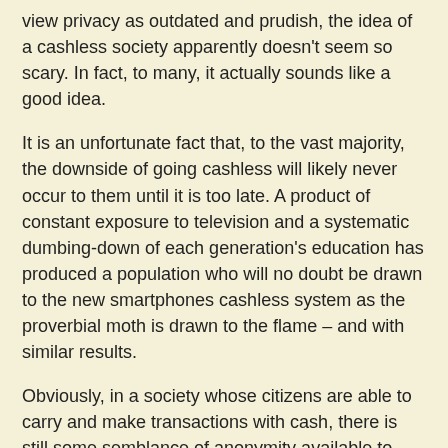view privacy as outdated and prudish, the idea of a cashless society apparently doesn't seem so scary. In fact, to many, it actually sounds like a good idea.
It is an unfortunate fact that, to the vast majority, the downside of going cashless will likely never occur to them until it is too late. A product of constant exposure to television and a systematic dumbing-down of each generation's education has produced a population who will no doubt be drawn to the new smartphones cashless system as the proverbial moth is drawn to the flame – and with similar results.
Obviously, in a society whose citizens are able to carry and make transactions with cash, there is still some semblance of anonymity available to them. There is still the opportunity to purchase staples such as food and water (via third parties if necessary) even if a system of exclusivity were to be introduced and certain people were prohibited from making purchases directly.
In a cashless system, however, an enormous amount of trust is placed in the hands of the government agencies, banks, and corporations that would then control the money for the “convenience” of the unwitting soul who has sacrificed his own personal responsibility and control for the